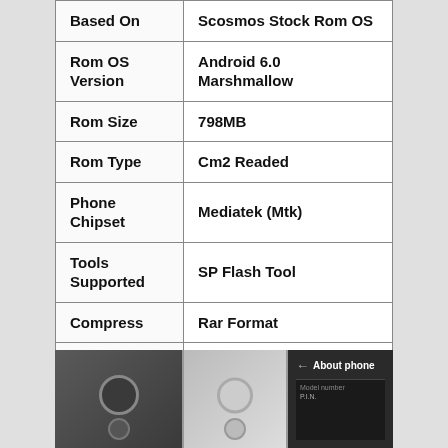| Property | Value |
| --- | --- |
| Based On | Scosmos Stock Rom OS |
| Rom OS Version | Android 6.0 Marshmallow |
| Rom Size | 798MB |
| Rom Type | Cm2 Readed |
| Phone Chipset | Mediatek (Mtk) |
| Tools Supported | SP Flash Tool |
| Compress | Rar Format |
| Drivers Supported | Mediatek usb vcom drivers |
| Uploaded | Google Drive |
| Rom condition | Only Paid service |
[Figure (photo): Three photos: two smartphone back views (dark and white) and an About phone settings screen showing Model number field.]